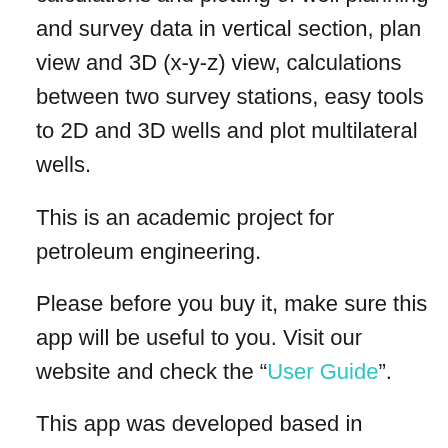calculations and plotting of well planning and survey data in vertical section, plan view and 3D (x-y-z) view, calculations between two survey stations, easy tools to 2D and 3D wells and plot multilateral wells.
This is an academic project for petroleum engineering.
Please before you buy it, make sure this app will be useful to you. Visit our website and check the “User Guide”.
This app was developed based in existing spreadsheets. There is no comparison with any other software.
Our goal was to create a very low-cost